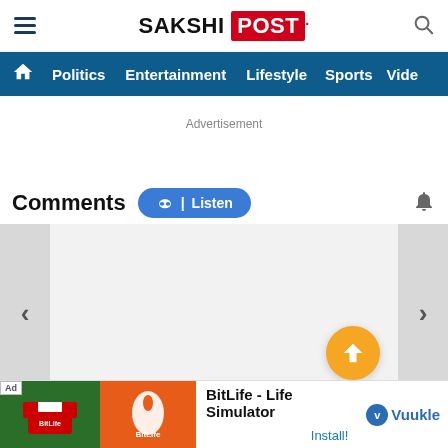SAKSHI POST
Politics  Entertainment  Lifestyle  Sports  Vide
Advertisement
Comments
Listen
Be the first to comment
BitLife - Life Simulator  Install!
Vuukle